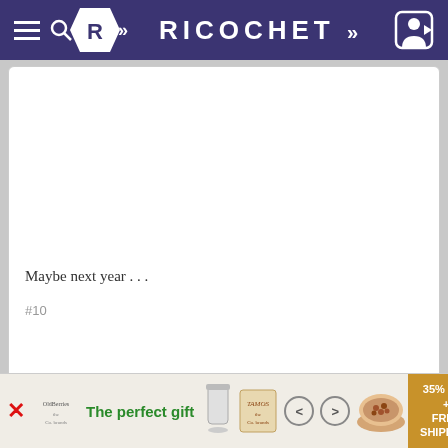RICOCHET
Maybe next year . . .
#10
Full Size Tabby @FullSizeTabby
[Figure (screenshot): Advertisement banner: 'The perfect gift' with 35% OFF + FREE SHIPPING offer]
[Figure (logo): Ricochet website navigation bar with hamburger menu, search, R logo badge, RICOCHET text, and login button]